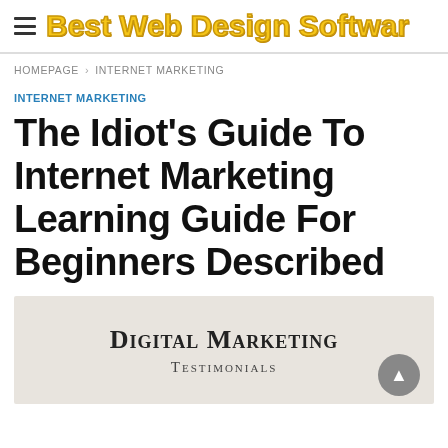Best Web Design Softwar…
HOMEPAGE › INTERNET MARKETING
INTERNET MARKETING
The Idiot's Guide To Internet Marketing Learning Guide For Beginners Described
[Figure (photo): Book cover image showing 'Digital Marketing Testimonials' text on a light grey background with a scroll-to-top arrow button overlay]